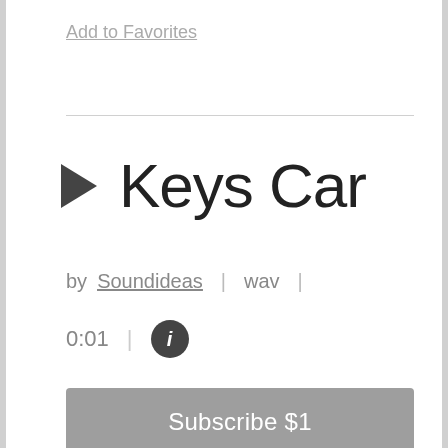Add to Favorites
Keys Car
by Soundideas | wav |
0:01 | ℹ
Subscribe $1
Add to Cart